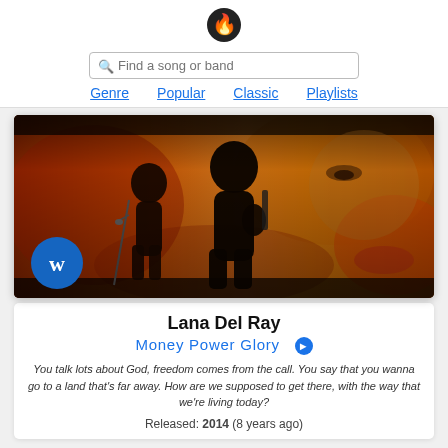[Figure (logo): Flame/music app logo icon]
Find a song or band
Genre   Popular   Classic   Playlists
[Figure (photo): Music video thumbnail showing silhouetted musicians performing on stage with warm orange/red background, Warner Music logo in bottom left]
Lana Del Ray
Money Power Glory ▶
You talk lots about God, freedom comes from the call. You say that you wanna go to a land that's far away. How are we supposed to get there, with the way that we're living today?
Released: 2014 (8 years ago)